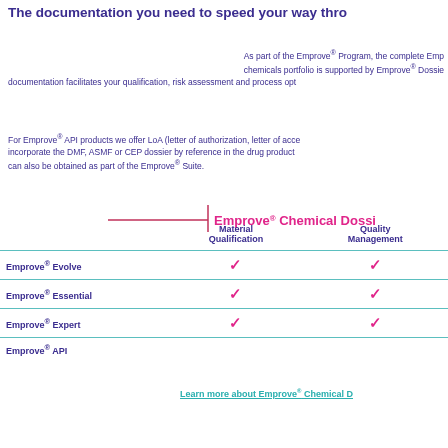The documentation you need to speed your way thro…
As part of the Emprove® Program, the complete Emp… chemicals portfolio is supported by Emprove® Dossie… documentation facilitates your qualification, risk assessment and process opt…
For Emprove® API products we offer LoA (letter of authorization, letter of acce… incorporate the DMF, ASMF or CEP dossier by reference in the drug product … can also be obtained as part of the Emprove® Suite.
|  | Material Qualification | Quality Management |
| --- | --- | --- |
| Emprove® Evolve | ✓ | ✓ |
| Emprove® Essential | ✓ | ✓ |
| Emprove® Expert | ✓ | ✓ |
| Emprove® API |  |  |
Learn more about Emprove® Chemical D…